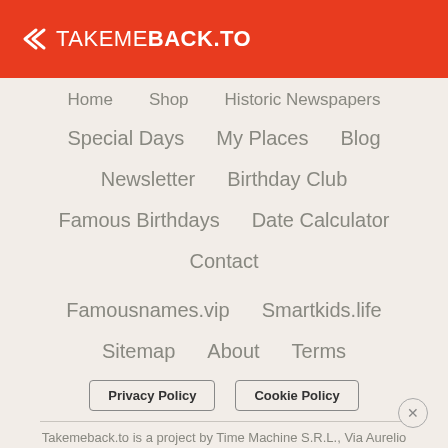TAKEMEBACK.TO
Home
Shop
Historic Newspapers
Special Days
My Places
Blog
Newsletter
Birthday Club
Famous Birthdays
Date Calculator
Contact
Famousnames.vip
Smartkids.life
Sitemap
About
Terms
Privacy Policy
Cookie Policy
Takemeback.to is a project by Time Machine S.R.L., Via Aurelio Saffi, 7 - 20123 Milan (Italy) - VAT/C.F./PIVA IT11059110963
Images and pictures available on https://takemeback.to are either copyrightless or with a free to use license.